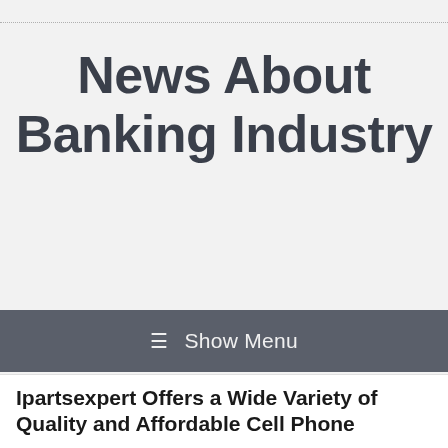News About Banking Industry
≡ Show Menu
Ipartsexpert Offers a Wide Variety of Quality and Affordable Cell Phone